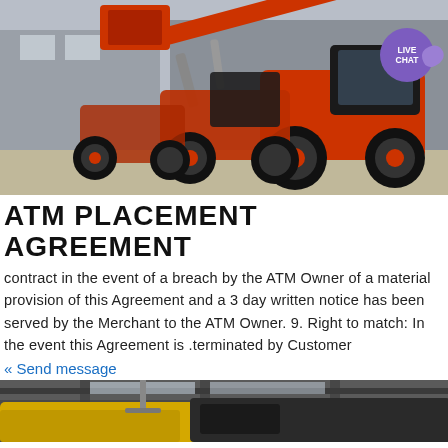[Figure (photo): Multiple orange wheel loaders/front-end loaders parked in a yard, with a live chat bubble icon in the upper right corner.]
ATM PLACEMENT AGREEMENT
contract in the event of a breach by the ATM Owner of a material provision of this Agreement and a 3 day written notice has been served by the Merchant to the ATM Owner. 9. Right to match: In the event this Agreement is terminated by Customer
« Send message
[Figure (photo): Interior of an industrial warehouse or factory, showing yellow and dark machinery overhead.]